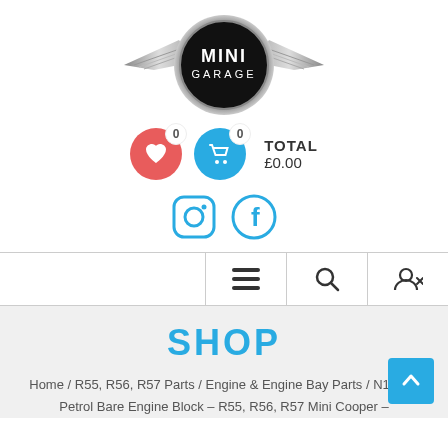[Figure (logo): MINI Garage logo — circular black badge with silver wings and 'MINI GARAGE' text]
[Figure (infographic): Wishlist icon (red circle with heart, badge 0) and cart icon (blue circle with shopping cart, badge 0), alongside TOTAL £0.00]
[Figure (infographic): Instagram and Facebook social media icons in teal/blue outline style]
[Figure (infographic): Navigation bar with hamburger menu, search, and user/logout icons]
SHOP
Home / R55, R56, R57 Parts / Engine & Engine Bay Parts / N12 1.6 Petrol Bare Engine Block – R55, R56, R57 Mini Cooper –